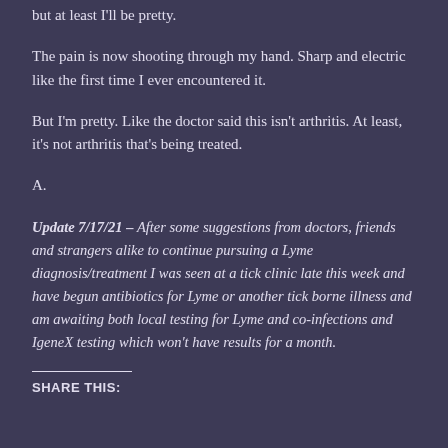but at least I'll be pretty.
The pain is now shooting through my hand. Sharp and electric like the first time I ever encountered it.
But I'm pretty. Like the doctor said this isn't arthritis. At least, it's not arthritis that's being treated.
A.
Update 7/17/21 – After some suggestions from doctors, friends and strangers alike to continue pursuing a Lyme diagnosis/treatment I was seen at a tick clinic late this week and have begun antibiotics for Lyme or another tick borne illness and am awaiting both local testing for Lyme and co-infections and IgeneX testing which won't have results for a month.
SHARE THIS: